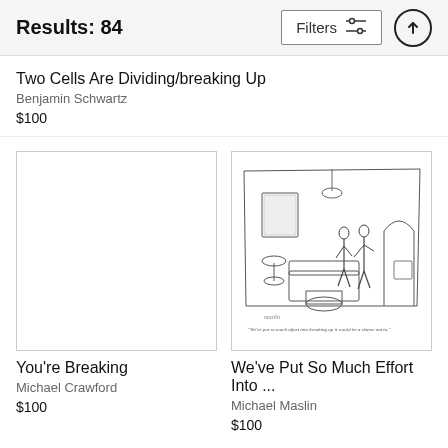Results: 84  Filters
Two Cells Are Dividing/breaking Up
Benjamin Schwartz
$100
[Figure (illustration): Blank white thumbnail placeholder for 'You're Breaking' cartoon]
You're Breaking
Michael Crawford
$100
[Figure (illustration): New Yorker style cartoon showing two people in a bedroom scene. Caption reads: 'We've put so much effort into breaking up it would be a shame not to.']
We've Put So Much Effort Into ...
Michael Maslin
$100